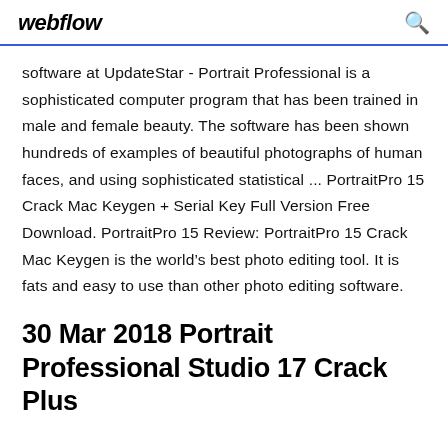webflow
software at UpdateStar - Portrait Professional is a sophisticated computer program that has been trained in male and female beauty. The software has been shown hundreds of examples of beautiful photographs of human faces, and using sophisticated statistical ... PortraitPro 15 Crack Mac Keygen + Serial Key Full Version Free Download. PortraitPro 15 Review: PortraitPro 15 Crack Mac Keygen is the world's best photo editing tool. It is fats and easy to use than other photo editing software.
30 Mar 2018 Portrait Professional Studio 17 Crack Plus